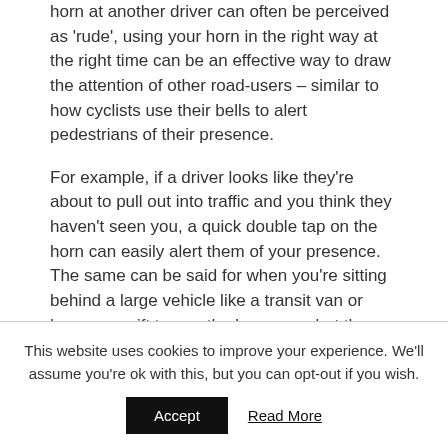horn at another driver can often be perceived as 'rude', using your horn in the right way at the right time can be an effective way to draw the attention of other road-users – similar to how cyclists use their bells to alert pedestrians of their presence.
For example, if a driver looks like they're about to pull out into traffic and you think they haven't seen you, a quick double tap on the horn can easily alert them of your presence. The same can be said for when you're sitting behind a large vehicle like a transit van or lorry – a swift tap on the horn can alert them of your presence.
This website uses cookies to improve your experience. We'll assume you're ok with this, but you can opt-out if you wish.
Accept
Read More